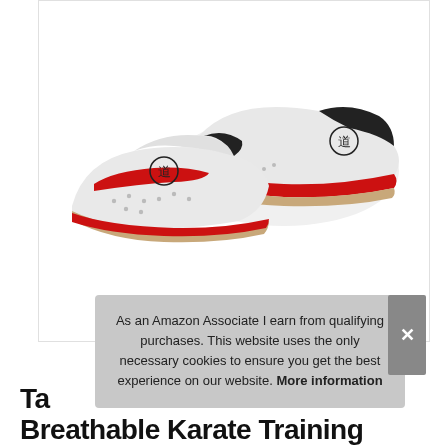[Figure (photo): Product photo of white taekwondo/karate martial arts shoes with red accents on the sole and a black logo on the side. Two shoes shown at an angle overlapping each other on a white background.]
As an Amazon Associate I earn from qualifying purchases. This website uses the only necessary cookies to ensure you get the best experience on our website. More information
Ta Breathable Karate Training Taekwondo